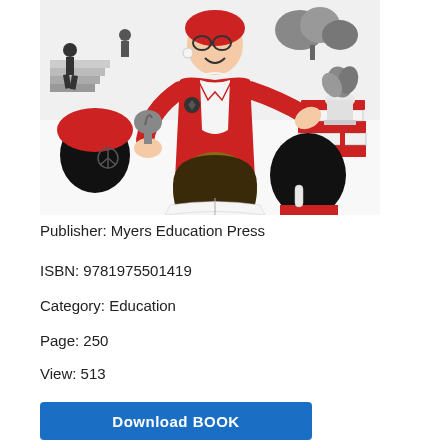[Figure (illustration): Book cover illustration showing a teacher in a red jacket holding a small plant, surrounded by students from behind (one with red beret, one with bob haircut, one in red shirt), with stacks of books and potted plants in the background. Black, white and red color scheme. People walking on stairs in upper background.]
Publisher: Myers Education Press
ISBN: 9781975501419
Category: Education
Page: 250
View: 513
Download BOOK